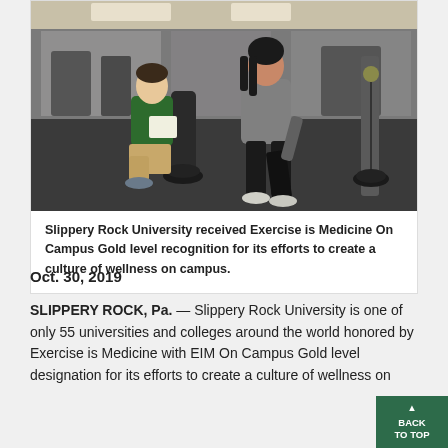[Figure (photo): A fitness trainer kneeling and taking notes while a female student walks using a cable machine in a gym facility. The trainer wears a green polo shirt, the student wears a grey zip-up and black leggings.]
Slippery Rock University received Exercise is Medicine On Campus Gold level recognition for its efforts to create a culture of wellness on campus.
Oct. 30, 2019
SLIPPERY ROCK, Pa. — Slippery Rock University is one of only 55 universities and colleges around the world honored by Exercise is Medicine with EIM On Campus Gold level designation for its efforts to create a culture of wellness on